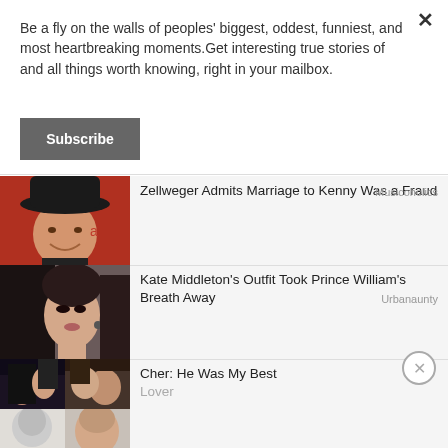Be a fly on the walls of peoples' biggest, oddest, funniest, and most heartbreaking moments.Get interesting true stories of and all things worth knowing, right in your mailbox.
Subscribe
[Figure (photo): Man wearing a black cowboy hat, smiling, in front of a red background]
Zellweger Admits Marriage to Kenny Was a Fraud
[Figure (photo): Kate Middleton with dark hair and makeup, looking to the side]
Kate Middleton's Outfit Took Prince William's Breath Away
[Figure (photo): Cher article with four small collage photos]
Cher: He Was My Best Lover